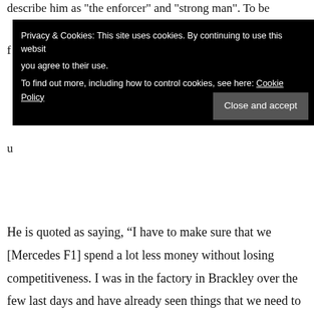describe him as "the enforcer" and "strong man". To be
[Figure (screenshot): Cookie consent banner with black background. Text reads: 'Privacy & Cookies: This site uses cookies. By continuing to use this website you agree to their use. To find out more, including how to control cookies, see here: Cookie Policy'. A dark grey button labeled 'Close and accept' appears at bottom right.]
He is quoted as saying, “I have to make sure that we [Mercedes F1] spend a lot less money without losing competitiveness. I was in the factory in Brackley over the few last days and have already seen things that we need to change”. Mmm, I’m Not sure Mercedes yet attained competitiveness, and further one has to wonder if Lewis knew all of this when signing up for 3